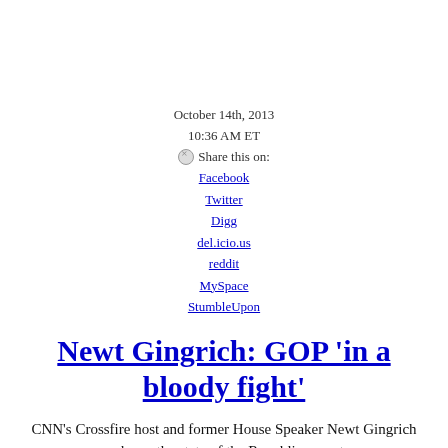October 14th, 2013
10:36 AM ET
⊗Share this on:
Facebook
Twitter
Digg
del.icio.us
reddit
MySpace
StumbleUpon
Newt Gingrich: GOP 'in a bloody fight'
CNN's Crossfire host and former House Speaker Newt Gingrich speaks on the state of the Republican party.